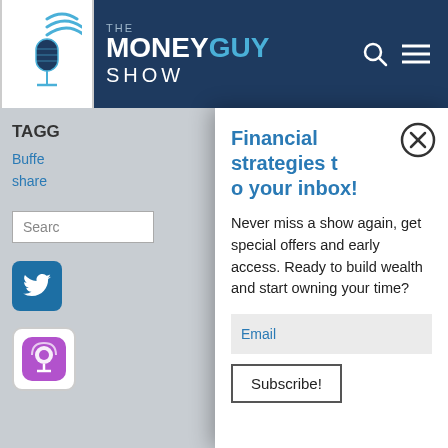[Figure (logo): The Money Guy Show logo with microphone icon and text on dark blue header background]
TAGG
Buffe
share
Financial strategies to your inbox!
Never miss a show again, get special offers and early access. Ready to build wealth and start owning your time?
Email
Subscribe!